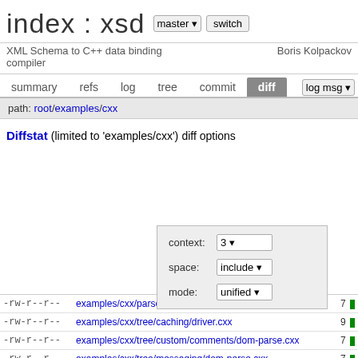index : xsd
XML Schema to C++ data binding compiler
Boris Kolpackov
summary  refs  log  tree  commit  diff  log msg
path: root/examples/cxx
Diffstat (limited to 'examples/cxx')  diff options
| permissions | file | count | bar |
| --- | --- | --- | --- |
| -rw-r--r-- | examples/cxx/parser/performance/driver.cxx | 7 | | |
| -rw-r--r-- | examples/cxx/tree/caching/driver.cxx | 9 | | |
| -rw-r--r-- | examples/cxx/tree/custom/comments/dom-parse.cxx | 7 | | |
| -rw-r--r-- | examples/cxx/tree/messaging/dom-parse.cxx | 7 | | |
| -rw-r--r-- | examples/cxx/tree/multiroot/dom-parse.cxx | 7 | | |
| -rw-r--r-- | examples/cxx/tree/performance/parsing.cxx | 7 | | |